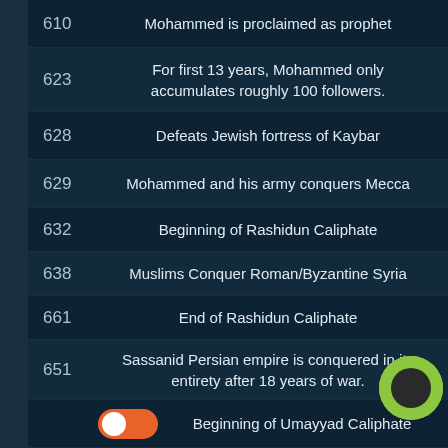610 — Mohammed is proclaimed as prophet
623 — For first 13 years, Mohammed only accumulates roughly 100 followers.
628 — Defeats Jewish fortress of Kaybar
629 — Mohammed and his army conquers Mecca
632 — Beginning of Rashidun Caliphate
638 — Muslims Conquer Roman/Byzantine Syria
661 — End of Rashidun Caliphate
651 — Sassanid Persian empire is conquered in its entirety after 18 years of war.
66 — Beginning of Umayyad Caliphate